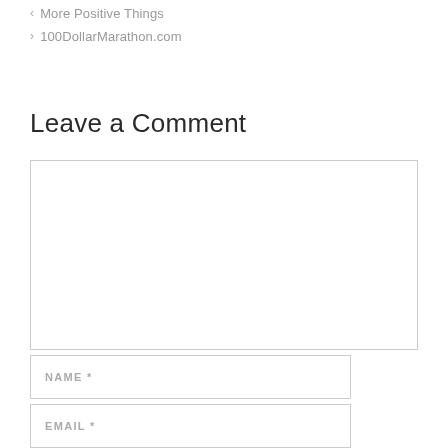< More Positive Things
> 100DollarMarathon.com
Leave a Comment
[Figure (other): Large empty comment text area input box]
[Figure (other): NAME * text input field]
[Figure (other): EMAIL * text input field]